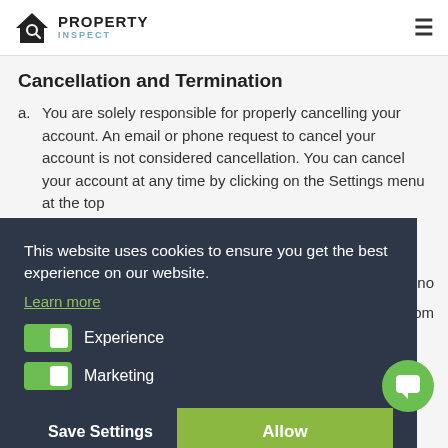PROPERTY INSPECT
Cancellation and Termination
a. You are solely responsible for properly cancelling your account. An email or phone request to cancel your account is not considered cancellation. You can cancel your account at any time by clicking on the Settings menu at the top
This website uses cookies to ensure you get the best experience on our website.
Learn more
Experience
Marketing
Save Settings  Allow
to cancellation.